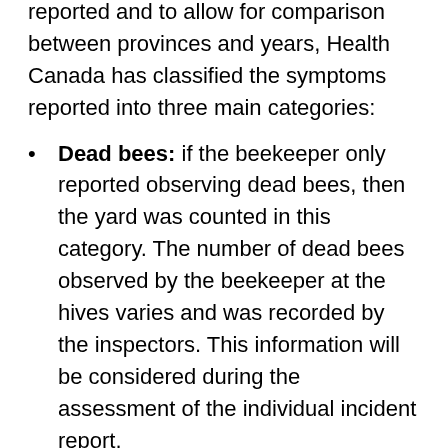reported and to allow for comparison between provinces and years, Health Canada has classified the symptoms reported into three main categories:
Dead bees: if the beekeeper only reported observing dead bees, then the yard was counted in this category. The number of dead bees observed by the beekeeper at the hives varies and was recorded by the inspectors. This information will be considered during the assessment of the individual incident report.
Colony effects: if the beekeeper only